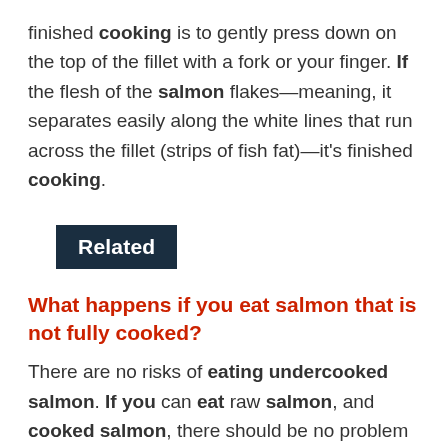finished cooking is to gently press down on the top of the fillet with a fork or your finger. If the flesh of the salmon flakes—meaning, it separates easily along the white lines that run across the fillet (strips of fish fat)—it's finished cooking.
Related
What happens if you eat salmon that is not fully cooked?
There are no risks of eating undercooked salmon. If you can eat raw salmon, and cooked salmon, there should be no problem with undercooked salmon. The risk comes in after time where the